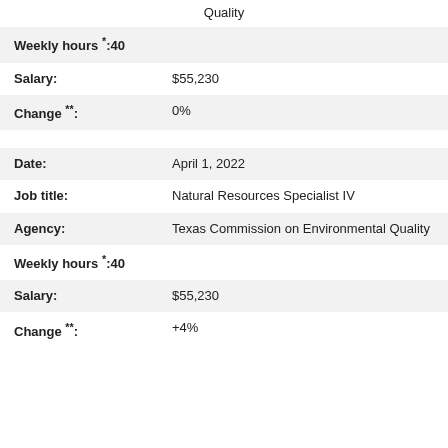Quality
| Weekly hours *: | 40 |
| Salary: | $55,230 |
| Change **: | 0% |
| Date: | April 1, 2022 |
| Job title: | Natural Resources Specialist IV |
| Agency: | Texas Commission on Environmental Quality |
| Weekly hours *: | 40 |
| Salary: | $55,230 |
| Change **: | +4% |